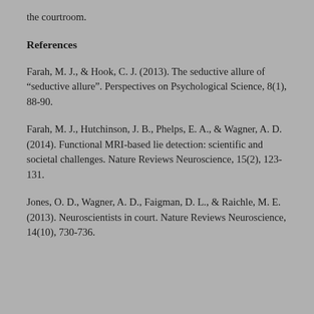the courtroom.
References
Farah, M. J., & Hook, C. J. (2013). The seductive allure of “seductive allure”. Perspectives on Psychological Science, 8(1), 88-90.
Farah, M. J., Hutchinson, J. B., Phelps, E. A., & Wagner, A. D. (2014). Functional MRI-based lie detection: scientific and societal challenges. Nature Reviews Neuroscience, 15(2), 123-131.
Jones, O. D., Wagner, A. D., Faigman, D. L., & Raichle, M. E. (2013). Neuroscientists in court. Nature Reviews Neuroscience, 14(10), 730-736.